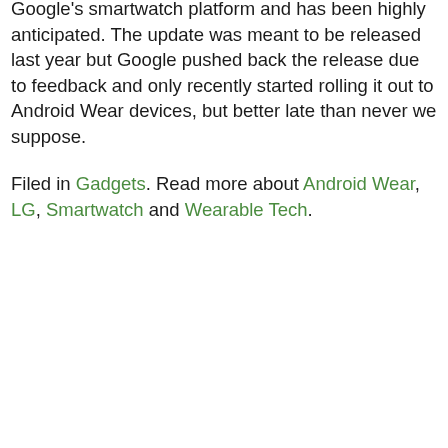Google's smartwatch platform and has been highly anticipated. The update was meant to be released last year but Google pushed back the release due to feedback and only recently started rolling it out to Android Wear devices, but better late than never we suppose.
Filed in Gadgets. Read more about Android Wear, LG, Smartwatch and Wearable Tech.